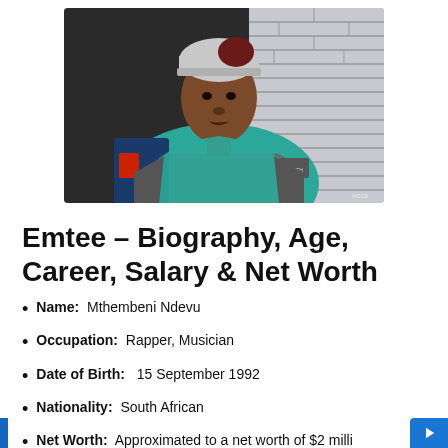[Figure (photo): Young Black man wearing a grey beanie hat and teal/grey zip-up jacket, seated in front of a brick wall background. A blue denim jacket is visible behind him.]
Emtee – Biography, Age, Career, Salary & Net Worth
Name: Mthembeni Ndevu
Occupation: Rapper, Musician
Date of Birth: 15 September 1992
Nationality: South African
Net Worth: Approximated to a net worth of $2 milli...